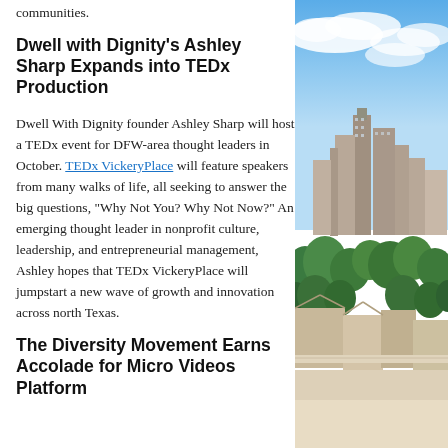communities.
Dwell with Dignity's Ashley Sharp Expands into TEDx Production
Dwell With Dignity founder Ashley Sharp will host a TEDx event for DFW-area thought leaders in October. TEDx VickeryPlace will feature speakers from many walks of life, all seeking to answer the big questions, “Why Not You? Why Not Now?” An emerging thought leader in nonprofit culture, leadership, and entrepreneurial management, Ashley hopes that TEDx VickeryPlace will jumpstart a new wave of growth and innovation across north Texas.
The Diversity Movement Earns Accolade for Micro Videos Platform
[Figure (photo): Aerial city skyline photo showing blue sky with clouds above, downtown skyscrapers in the middle distance, and residential rooftops with green trees in the foreground — a DFW-area cityscape.]